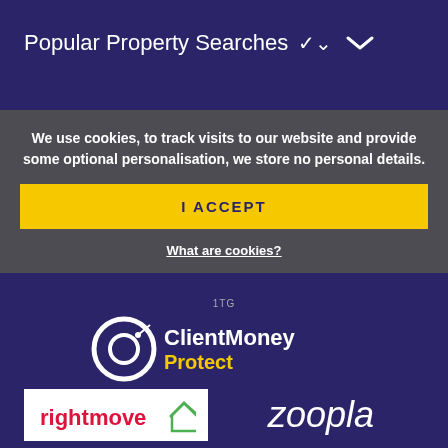Popular Property Searches ∨
We use cookies, to track visits to our website and provide some optional personalisation, we store no personal details.
I ACCEPT
What are cookies?
1TG
[Figure (logo): ClientMoney Protect logo — circular C icon with text ClientMoney Protect]
[Figure (logo): rightmove logo with house icon, white background]
[Figure (logo): zoopla logo in white italic text]
[Figure (logo): OnTheMarket logo with location pin icon]
[Figure (logo): The Property Ombudsman logo with triangle/chevron icon on dark blue background]